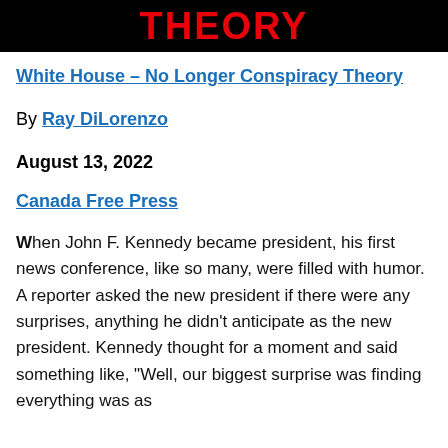[Figure (other): Black banner header with red bold text reading 'THEORY']
White House – No Longer Conspiracy Theory
By Ray DiLorenzo
August 13, 2022
Canada Free Press
When John F. Kennedy became president, his first news conference, like so many, were filled with humor. A reporter asked the new president if there were any surprises, anything he didn't anticipate as the new president. Kennedy thought for a moment and said something like, "Well, our biggest surprise was finding everything was as